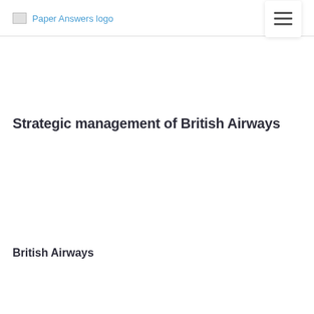Paper Answers logo
Strategic management of British Airways
British Airways